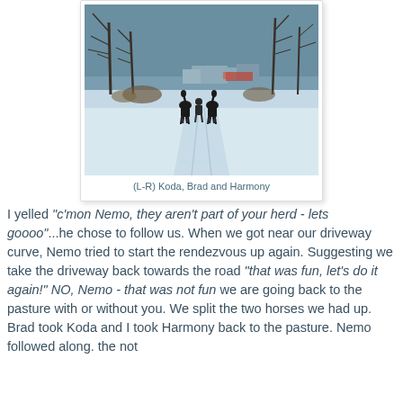[Figure (photo): Winter snow scene showing three figures (a horse named Koda, a person named Brad, and a horse named Harmony) walking away from the camera along a snow-covered driveway, with bare trees and farm buildings in the background under a gray winter sky.]
(L-R) Koda, Brad and Harmony
I yelled "c'mon Nemo, they aren't part of your herd - lets goooo"...he chose to follow us. When we got near our driveway curve, Nemo tried to start the rendezvous up again. Suggesting we take the driveway back towards the road "that was fun, let's do it again!" NO, Nemo - that was not fun we are going back to the pasture with or without you. We split the two horses we had up. Brad took Koda and I took Harmony back to the pasture. Nemo followed along. the not